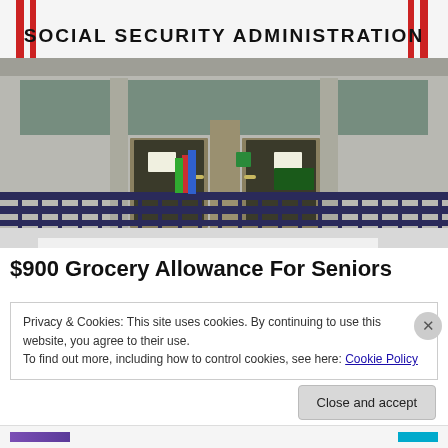[Figure (photo): Photograph of a Social Security Administration building exterior with large sign reading 'SOCIAL SECURITY ADMINISTRATION', glass entrance doors, metal railings, and concrete facade.]
$900 Grocery Allowance For Seniors
Privacy & Cookies: This site uses cookies. By continuing to use this website, you agree to their use.
To find out more, including how to control cookies, see here: Cookie Policy